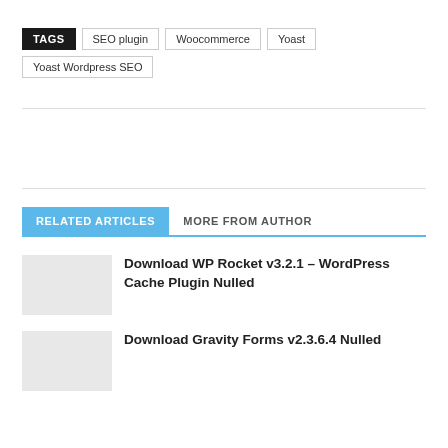TAGS  SEO plugin  Woocommerce  Yoast  Yoast Wordpress SEO
RELATED ARTICLES  MORE FROM AUTHOR
Download WP Rocket v3.2.1 – WordPress Cache Plugin Nulled
Download Gravity Forms v2.3.6.4 Nulled